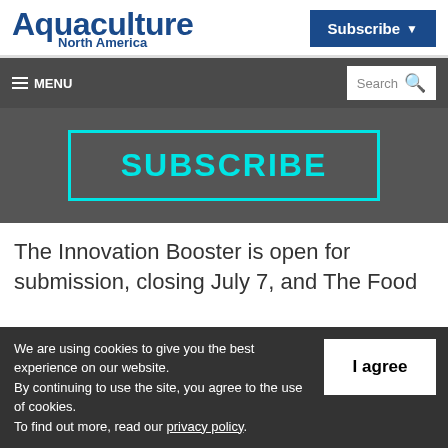Aquaculture North America | Subscribe
[Figure (logo): Aquaculture North America logo in dark blue bold text]
[Figure (screenshot): Subscribe button in dark blue with white text and dropdown arrow]
≡ MENU
Search
[Figure (infographic): SUBSCRIBE button with cyan border and cyan bold text on dark gray background]
The Innovation Booster is open for submission, closing July 7, and The Food
We are using cookies to give you the best experience on our website.
By continuing to use the site, you agree to the use of cookies.
To find out more, read our privacy policy.
I agree